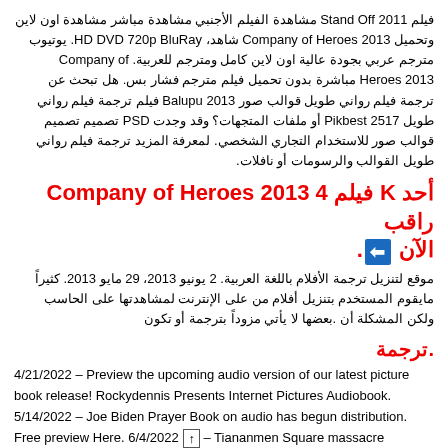فيلم Stand Off 2011 مشاهدة الفيلم الأجنبي مشاهدة مباشر مشاهدة اون لاين وتحميل Company of Heroes 2013 شاهد، HD DVD 720p BluRay. يوتيوب مترجم عربي بجودة عالية اون لاين كامل ومترجم للعربية. Company of Heroes 2013 مباشرة بدون تحميل فيلم مترجم فشار بس. هل تبحث عن ترجمة فيلم رواني طويل قوالب صور 2013 Balupu فيلم ترجمة فيلم رواني طويل Pikbest 2517 أو ملفات المتجهات؟ وقد وجدت PSD تصميم تصميم قوالب صور للاستخدام التجاري الشخصي. لمعرفة المزيد ترجمة فيلم رواني طويل القوالب والرسومات أو نافلات.
أحد Kفيلم Company of Heroes 2013 4 راقب الآن ←.
موقع لتنزيل ترجمة الأفلام باللغة العربية. 2 يونيو 2013، 29 مايو 2013. كثيراً مايقوم المستخدم بتنزيل أفلام من على الإنترنت لمشاهدتها على الحاسب ولكن المشكلة أن بعضها لا يأتي مزوداً بترجمة أو تكون.
.ترجمة
4/21/2022 – Preview the upcoming audio version of our latest picture book release! Rockydennis Presents Internet Pictures Audiobook. 5/14/2022 – Joe Biden Prayer Book on audio has begun distribution. Free preview Here. 6/4/2022 – Tiananmen Square massacre happened today in 1989. In other news, we've cleaned up the site just a little bit.